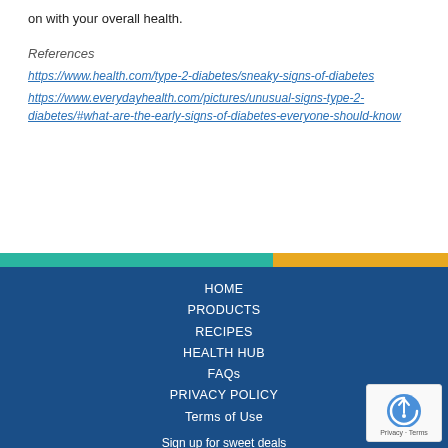on with your overall health.
References
https://www.health.com/type-2-diabetes/sneaky-signs-of-diabetes
https://www.everydayhealth.com/pictures/unusual-signs-type-2-diabetes/#what-are-the-early-signs-of-diabetes-everyone-should-know
HOME
PRODUCTS
RECIPES
HEALTH HUB
FAQs
PRIVACY POLICY
Terms of Use
Sign up for sweet deals